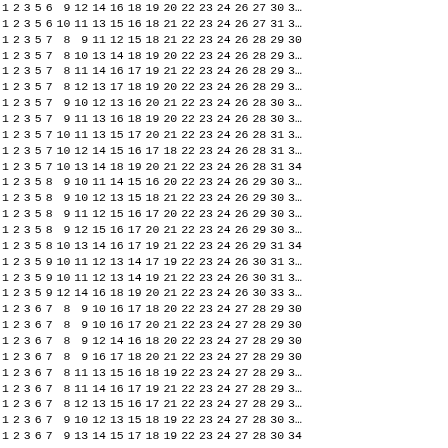| 1 | 2 | 3 | 5 | 6 | 9 | 12 | 14 | 16 | 18 | 19 | 20 | 22 | 23 | 24 | 26 | 27 | 30 | 3… |
| 1 | 2 | 3 | 5 | 6 | 10 | 11 | 13 | 15 | 16 | 18 | 21 | 22 | 23 | 24 | 26 | 27 | 31 | 3… |
| 1 | 2 | 3 | 5 | 7 | 8 | 9 | 11 | 12 | 15 | 18 | 21 | 22 | 23 | 24 | 26 | 28 | 29 | 30 |
| 1 | 2 | 3 | 5 | 7 | 8 | 10 | 13 | 14 | 18 | 19 | 20 | 22 | 23 | 24 | 26 | 28 | 29 | 3… |
| 1 | 2 | 3 | 5 | 7 | 8 | 11 | 14 | 16 | 17 | 19 | 21 | 22 | 23 | 24 | 26 | 28 | 29 | 3… |
| 1 | 2 | 3 | 5 | 7 | 8 | 12 | 13 | 17 | 18 | 19 | 20 | 22 | 23 | 24 | 26 | 28 | 29 | 3… |
| 1 | 2 | 3 | 5 | 7 | 9 | 10 | 12 | 13 | 16 | 20 | 21 | 22 | 23 | 24 | 26 | 28 | 30 | 3… |
| 1 | 2 | 3 | 5 | 7 | 9 | 11 | 13 | 16 | 18 | 19 | 20 | 22 | 23 | 24 | 26 | 28 | 30 | 3… |
| 1 | 2 | 3 | 5 | 7 | 10 | 11 | 13 | 15 | 17 | 20 | 21 | 22 | 23 | 24 | 26 | 28 | 31 | 3… |
| 1 | 2 | 3 | 5 | 7 | 10 | 12 | 14 | 15 | 16 | 17 | 18 | 22 | 23 | 24 | 26 | 28 | 31 | 3… |
| 1 | 2 | 3 | 5 | 7 | 10 | 13 | 14 | 18 | 19 | 20 | 21 | 22 | 23 | 24 | 26 | 28 | 31 | 34 |
| 1 | 2 | 3 | 5 | 8 | 9 | 10 | 11 | 14 | 15 | 16 | 20 | 22 | 23 | 24 | 26 | 29 | 30 | 3… |
| 1 | 2 | 3 | 5 | 8 | 9 | 10 | 12 | 13 | 15 | 18 | 21 | 22 | 23 | 24 | 26 | 29 | 30 | 3… |
| 1 | 2 | 3 | 5 | 8 | 9 | 11 | 12 | 15 | 16 | 17 | 20 | 22 | 23 | 24 | 26 | 29 | 30 | 3… |
| 1 | 2 | 3 | 5 | 8 | 9 | 12 | 15 | 16 | 17 | 20 | 21 | 22 | 23 | 24 | 26 | 29 | 30 | 3… |
| 1 | 2 | 3 | 5 | 8 | 10 | 13 | 14 | 16 | 17 | 19 | 21 | 22 | 23 | 24 | 26 | 29 | 31 | 34 |
| 1 | 2 | 3 | 5 | 9 | 10 | 11 | 12 | 13 | 14 | 17 | 19 | 22 | 23 | 24 | 26 | 30 | 31 | 3… |
| 1 | 2 | 3 | 5 | 9 | 10 | 11 | 12 | 13 | 14 | 19 | 21 | 22 | 23 | 24 | 26 | 30 | 31 | 3… |
| 1 | 2 | 3 | 5 | 9 | 12 | 14 | 16 | 18 | 19 | 20 | 21 | 22 | 23 | 24 | 26 | 30 | 33 | 3… |
| 1 | 2 | 3 | 6 | 7 | 8 | 9 | 10 | 16 | 17 | 18 | 20 | 22 | 23 | 24 | 27 | 28 | 29 | 30 |
| 1 | 2 | 3 | 6 | 7 | 8 | 9 | 10 | 16 | 17 | 20 | 21 | 22 | 23 | 24 | 27 | 28 | 29 | 30 |
| 1 | 2 | 3 | 6 | 7 | 8 | 9 | 12 | 14 | 16 | 18 | 20 | 22 | 23 | 24 | 27 | 28 | 29 | 30 |
| 1 | 2 | 3 | 6 | 7 | 8 | 9 | 16 | 17 | 18 | 20 | 21 | 22 | 23 | 24 | 27 | 28 | 29 | 30 |
| 1 | 2 | 3 | 6 | 7 | 8 | 11 | 13 | 15 | 16 | 18 | 19 | 22 | 23 | 24 | 27 | 28 | 29 | 3… |
| 1 | 2 | 3 | 6 | 7 | 8 | 11 | 14 | 16 | 17 | 19 | 21 | 22 | 23 | 24 | 27 | 28 | 29 | 3… |
| 1 | 2 | 3 | 6 | 7 | 8 | 12 | 13 | 15 | 16 | 17 | 21 | 22 | 23 | 24 | 27 | 28 | 29 | 3… |
| 1 | 2 | 3 | 6 | 7 | 9 | 10 | 12 | 13 | 15 | 18 | 19 | 22 | 23 | 24 | 27 | 28 | 30 | 3… |
| 1 | 2 | 3 | 6 | 7 | 9 | 13 | 14 | 15 | 17 | 18 | 19 | 22 | 23 | 24 | 27 | 28 | 30 | 34 |
| 1 | 2 | 3 | 6 | 7 | 10 | 11 | 12 | 17 | 18 | 20 | 21 | 22 | 23 | 24 | 27 | 28 | 31 | 3… |
| 1 | 2 | 3 | 6 | 7 | 13 | 14 | 15 | 17 | 18 | 19 | 21 | 22 | 23 | 24 | 27 | 28 | 34 | 3… |
| 1 | 2 | 3 | 6 | 8 | 8 | 10 | 13 | 13 | 15 | 18 | 21 | 22 | 23 | 24 | 27 | 28 | 30 | 30 |